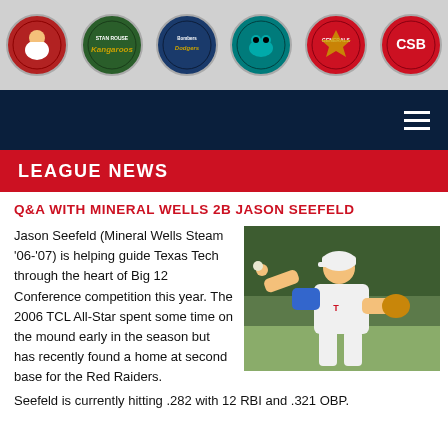[Figure (other): Navigation header bar with six team logos on a gray background: team logos including Kangaroos, Bombers, Frogs, Generals, CSB]
[Figure (other): Dark navy navigation bar with hamburger menu icon on the right]
LEAGUE NEWS
Q&A WITH MINERAL WELLS 2B JASON SEEFELD
Jason Seefeld (Mineral Wells Steam '06-'07) is helping guide Texas Tech through the heart of Big 12 Conference competition this year. The 2006 TCL All-Star spent some time on the mound early in the season but has recently found a home at second base for the Red Raiders.  Seefeld is currently hitting .282 with 12 RBI and .321 OBP.
[Figure (photo): Baseball player in white uniform with blue accents throwing a ball on a field]